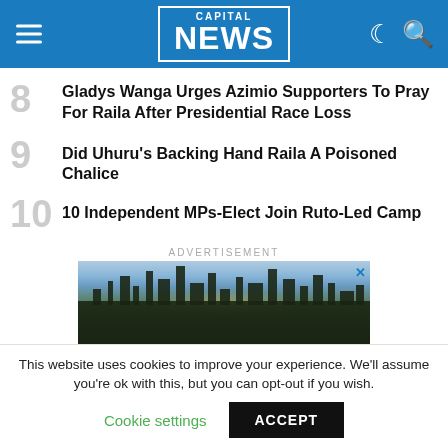CAPITAL NEWS
8 Gladys Wanga Urges Azimio Supporters To Pray For Raila After Presidential Race Loss
9 Did Uhuru's Backing Hand Raila A Poisoned Chalice
10 10 Independent MPs-Elect Join Ruto-Led Camp
ADVERTISEMENT
[Figure (photo): Aerial cityscape photo of Nairobi at dusk with city lights and skyline]
This website uses cookies to improve your experience. We'll assume you're ok with this, but you can opt-out if you wish.
Cookie settings   ACCEPT